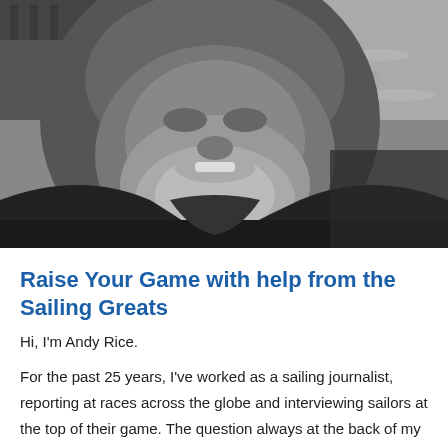[Figure (photo): Black and white close-up selfie photograph of a bearded middle-aged man smiling, wearing a dark jacket, with water visible in the background.]
Raise Your Game with help from the Sailing Greats
Hi, I'm Andy Rice.
For the past 25 years, I've worked as a sailing journalist, reporting at races across the globe and interviewing sailors at the top of their game. The question always at the back of my mind - as I ask the world's best what they